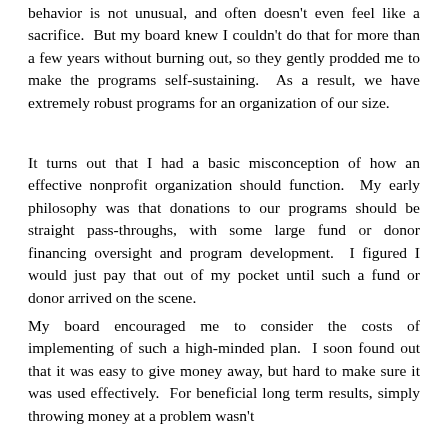behavior is not unusual, and often doesn't even feel like a sacrifice.  But my board knew I couldn't do that for more than a few years without burning out, so they gently prodded me to make the programs self-sustaining.  As a result, we have extremely robust programs for an organization of our size.
It turns out that I had a basic misconception of how an effective nonprofit organization should function.  My early philosophy was that donations to our programs should be straight pass-throughs, with some large fund or donor financing oversight and program development.  I figured I would just pay that out of my pocket until such a fund or donor arrived on the scene.
My board encouraged me to consider the costs of implementing of such a high-minded plan.  I soon found out that it was easy to give money away, but hard to make sure it was used effectively.  For beneficial long term results, simply throwing money at a problem wasn't